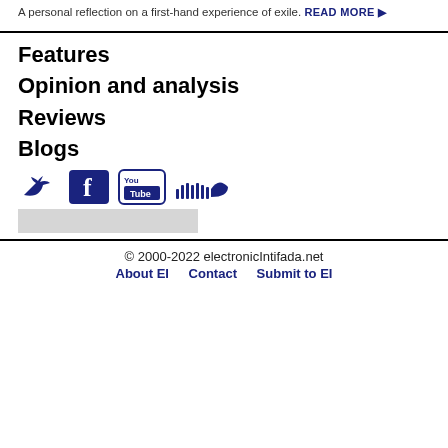A personal reflection on a first-hand experience of exile. READ MORE ▶
Features
Opinion and analysis
Reviews
Blogs
[Figure (logo): Social media icons: Twitter, Facebook, YouTube, SoundCloud]
© 2000-2022 electronicIntifada.net About EI Contact Submit to EI